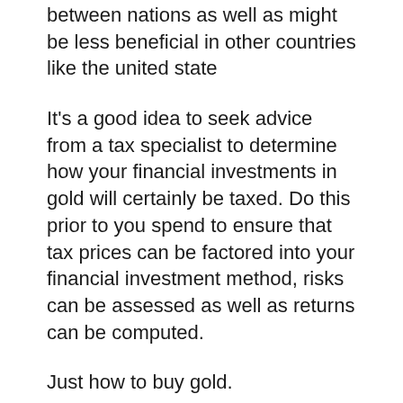between nations as well as might be less beneficial in other countries like the united state
It's a good idea to seek advice from a tax specialist to determine how your financial investments in gold will certainly be taxed. Do this prior to you spend to ensure that tax prices can be factored into your financial investment method, risks can be assessed as well as returns can be computed.
Just how to buy gold.
Capitalists have equally as numerous approaches to buy gold as they do reasons for spending. They can acquire gold with Exchange Traded Finances (ETFs), buying the